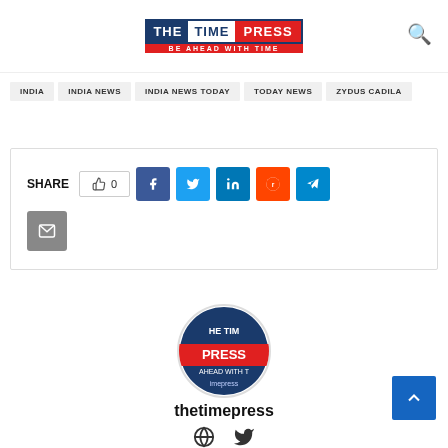[Figure (logo): The Time Press logo with tagline 'BE AHEAD WITH TIME']
INDIA
INDIA NEWS
INDIA NEWS TODAY
TODAY NEWS
ZYDUS CADILA
[Figure (infographic): Share bar with like count 0, Facebook, Twitter, LinkedIn, Reddit, Telegram, and Email buttons]
[Figure (logo): The Time Press circular logo avatar]
thetimepress
[Figure (infographic): Globe/website icon and Twitter bird icon for author social links]